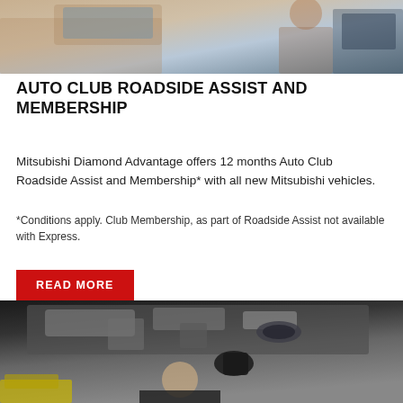[Figure (photo): Photo of a woman near a car with door open, showing automotive/roadside assist context]
AUTO CLUB ROADSIDE ASSIST AND MEMBERSHIP
Mitsubishi Diamond Advantage offers 12 months Auto Club Roadside Assist and Membership* with all new Mitsubishi vehicles.
*Conditions apply. Club Membership, as part of Roadside Assist not available with Express.
READ MORE
[Figure (photo): Photo of a mechanic working underneath a vehicle, looking up at the camera]